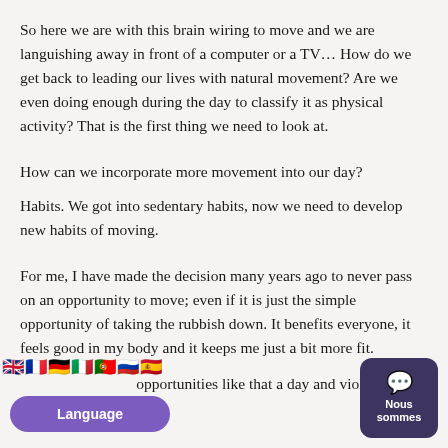So here we are with this brain wiring to move and we are languishing away in front of a computer or a TV... How do we get back to leading our lives with natural movement? Are we even doing enough during the day to classify it as physical activity? That is the first thing we need to look at.
How can we incorporate more movement into our day?
Habits. We got into sedentary habits, now we need to develop new habits of moving.
For me, I have made the decision many years ago to never pass on an opportunity to move; even if it is just the simple opportunity of taking the rubbish down. It benefits everyone, it feels good in my body and it keeps me just a bit more fit.
opportunities like that a day and viola, mo